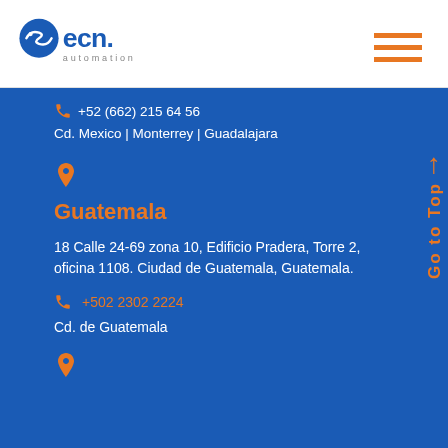[Figure (logo): ECN Automation logo — blue circular icon with wave/fish symbol, bold blue 'ecn.' text, and grey 'automation' text below]
+52 (662) 215 64 56
Cd. Mexico | Monterrey | Guadalajara
Guatemala
18 Calle 24-69 zona 10, Edificio Pradera, Torre 2, oficina 1108. Ciudad de Guatemala, Guatemala.
+502 2302 2224
Cd. de Guatemala